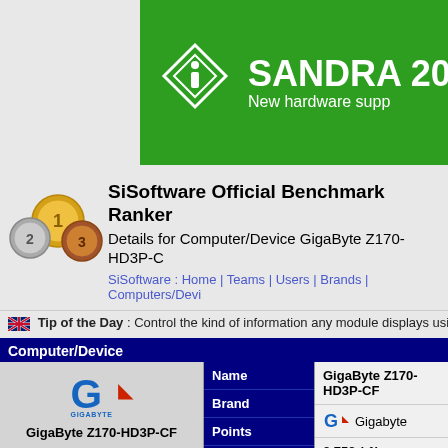[Figure (logo): SANDRA 20 green banner with diamond i icon and text 'New hardware supp']
[Figure (illustration): Medal/award icons (gold #1, silver #2, bronze #3)]
SiSoftware Official Benchmark Ranker
Details for Computer/Device GigaByte Z170-HD3P-C
SiSoftware : Home | Teams | Users | Brands | Computers/Devi
Tip of the Day : Control the kind of information any module displays usi
Computer/Device
|  | Name | GigaByte Z170-HD3P-CF |
| --- | --- | --- |
| [Gigabyte logo] | Brand | Gigabyte |
|  | Points | 3,758 (-1) |
| GigaByte Z170-HD3P-CF | Platform | Desktop |
|  | Price | Best Price for GigaBy |
|  | Status | Active |